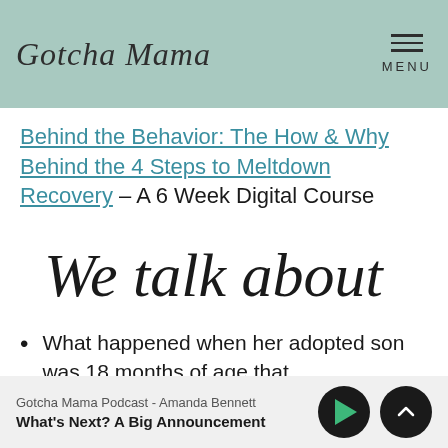Gotcha Mama | MENU
Behind the Behavior: The How & Why Behind the 4 Steps to Meltdown Recovery – A 6 Week Digital Course
[Figure (illustration): Handwritten script text reading 'We talk about']
What happened when her adopted son was 18 months of age that
Gotcha Mama Podcast - Amanda Bennett | What's Next? A Big Announcement